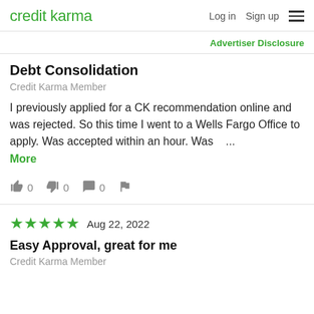credit karma  Log in  Sign up
Advertiser Disclosure
Debt Consolidation
Credit Karma Member
I previously applied for a CK recommendation online and was rejected. So this time I went to a Wells Fargo Office to apply. Was accepted within an hour. Was ... More
0  0  0
★★★★★  Aug 22, 2022
Easy Approval, great for me
Credit Karma Member